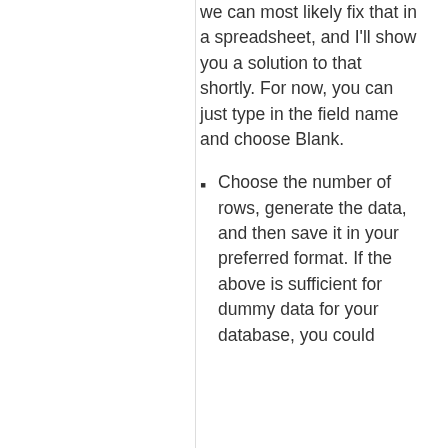we can most likely fix that in a spreadsheet, and I'll show you a solution to that shortly. For now, you can just type in the field name and choose Blank.
Choose the number of rows, generate the data, and then save it in your preferred format. If the above is sufficient for dummy data for your database, you could